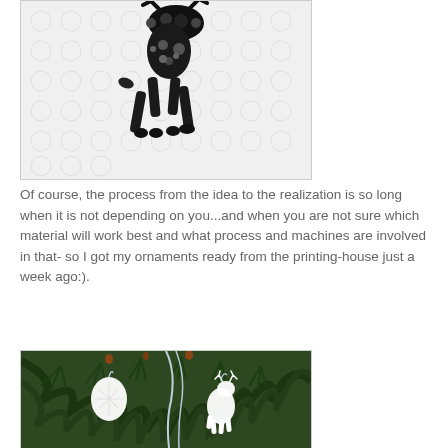[Figure (illustration): Black and white ornate lace-pattern illustration of a deer/reindeer silhouette on a white background with floral lace motifs]
Of course, the process from the idea to the realization is so long when it is not depending on you...and when you are not sure which material will work best and what process and machines are involved in that- so I got my ornaments ready from the printing-house just a week ago:).
[Figure (photo): Photo of white ornamental deer and snowflake ornaments hanging on a green pine Christmas tree with ribbons]